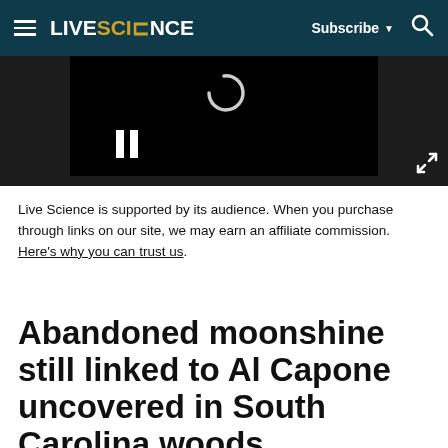LIVESCIENCE
[Figure (screenshot): Video player showing a loading spinner and pause button on a black background]
Live Science is supported by its audience. When you purchase through links on our site, we may earn an affiliate commission. Here's why you can trust us.
Abandoned moonshine still linked to Al Capone uncovered in South Carolina woods